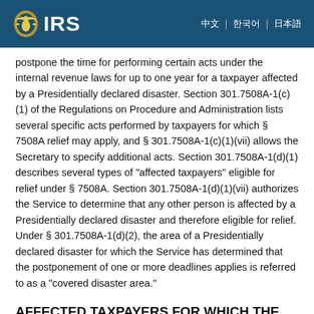IRS
postpone the time for performing certain acts under the internal revenue laws for up to one year for a taxpayer affected by a Presidentially declared disaster. Section 301.7508A-1(c)(1) of the Regulations on Procedure and Administration lists several specific acts performed by taxpayers for which § 7508A relief may apply, and § 301.7508A-1(c)(1)(vii) allows the Secretary to specify additional acts. Section 301.7508A-1(d)(1) describes several types of "affected taxpayers" eligible for relief under § 7508A. Section 301.7508A-1(d)(1)(vii) authorizes the Service to determine that any other person is affected by a Presidentially declared disaster and therefore eligible for relief. Under § 301.7508A-1(d)(2), the area of a Presidentially declared disaster for which the Service has determined that the postponement of one or more deadlines applies is referred to as a "covered disaster area."
AFFECTED TAXPAYERS FOR WHICH THE SECTION 165(i) DEADLINE IS POSTPONED